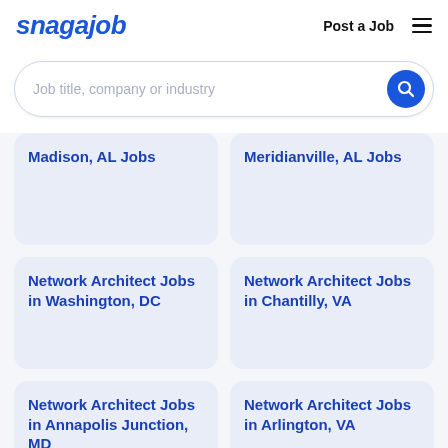[Figure (logo): Snagajob logo in blue italic bold text]
Post a Job
≡
Job title, company or industry
Madison, AL Jobs
Meridianville, AL Jobs
Network Architect Jobs in Washington, DC
Network Architect Jobs in Chantilly, VA
Network Architect Jobs in Annapolis Junction, MD
Network Architect Jobs in Arlington, VA